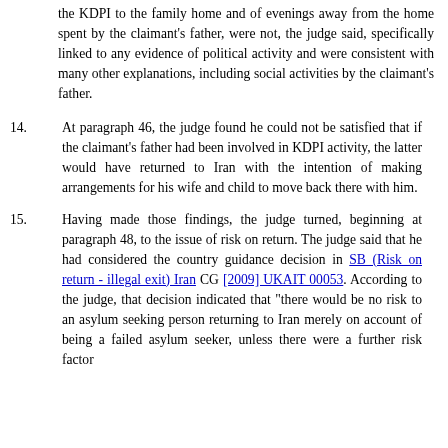the KDPI to the family home and of evenings away from the home spent by the claimant's father, were not, the judge said, specifically linked to any evidence of political activity and were consistent with many other explanations, including social activities by the claimant's father.
14. At paragraph 46, the judge found he could not be satisfied that if the claimant's father had been involved in KDPI activity, the latter would have returned to Iran with the intention of making arrangements for his wife and child to move back there with him.
15. Having made those findings, the judge turned, beginning at paragraph 48, to the issue of risk on return. The judge said that he had considered the country guidance decision in SB (Risk on return - illegal exit) Iran CG [2009] UKAIT 00053. According to the judge, that decision indicated that "there would be no risk to an asylum seeking person returning to Iran merely on account of being a failed asylum seeker, unless there were a further risk factor...